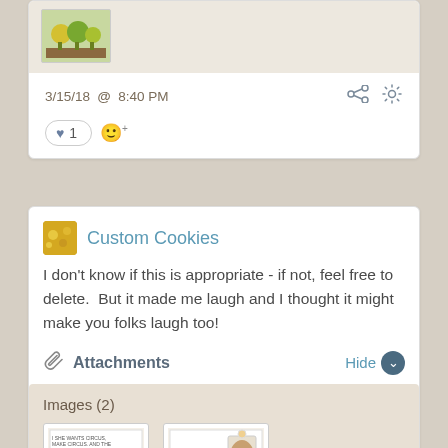[Figure (screenshot): Thumbnail image of flowers/plants at top of first post card]
3/15/18  @  8:40 PM
♥ 1  😊+
Custom Cookies
I don't know if this is appropriate - if not, feel free to delete.  But it made me laugh and I thought it might make you folks laugh too!
📎 Attachments    Hide ▼
Images (2)
[Figure (photo): Two thumbnail comic/cartoon images]
[Figure (photo): Second cartoon thumbnail image]